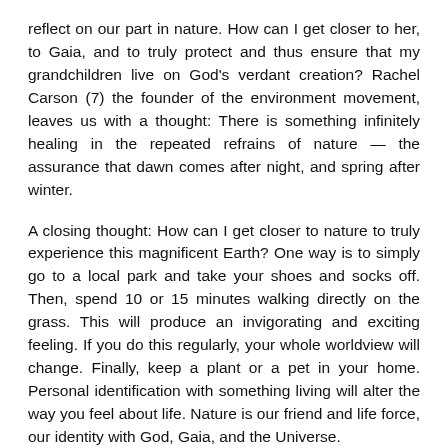reflect on our part in nature. How can I get closer to her, to Gaia, and to truly protect and thus ensure that my grandchildren live on God's verdant creation? Rachel Carson (7) the founder of the environment movement, leaves us with a thought: There is something infinitely healing in the repeated refrains of nature — the assurance that dawn comes after night, and spring after winter.
A closing thought: How can I get closer to nature to truly experience this magnificent Earth? One way is to simply go to a local park and take your shoes and socks off. Then, spend 10 or 15 minutes walking directly on the grass. This will produce an invigorating and exciting feeling. If you do this regularly, your whole worldview will change. Finally, keep a plant or a pet in your home. Personal identification with something living will alter the way you feel about life. Nature is our friend and life force, our identity with God, Gaia, and the Universe.
To sum up: This week, we spoke about nature and all her